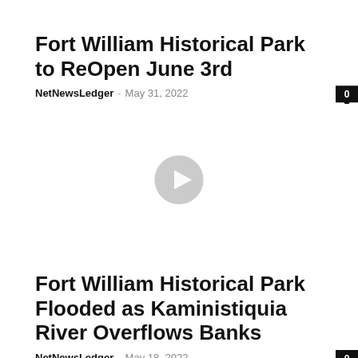Fort William Historical Park to ReOpen June 3rd
NetNewsLedger – May 31, 2022
[Figure (other): Video play button overlay on a video thumbnail]
Fort William Historical Park Flooded as Kaministiquia River Overflows Banks
NetNewsLedger – May 18, 2022